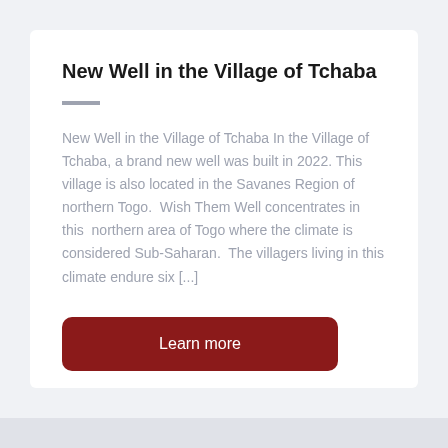New Well in the Village of Tchaba
New Well in the Village of Tchaba In the Village of Tchaba, a brand new well was built in 2022. This village is also located in the Savanes Region of northern Togo.  Wish Them Well concentrates in this  northern area of Togo where the climate is considered Sub-Saharan.  The villagers living in this climate endure six [...]
Learn more